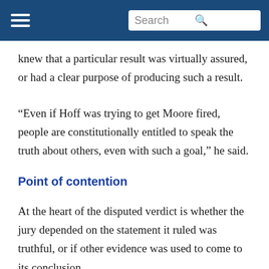Search
knew that a particular result was virtually assured, or had a clear purpose of producing such a result.
“Even if Hoff was trying to get Moore fired, people are constitutionally entitled to speak the truth about others, even with such a goal,” he said.
Point of contention
At the heart of the disputed verdict is whether the jury depended on the statement it ruled was truthful, or if other evidence was used to come to its conclusion.